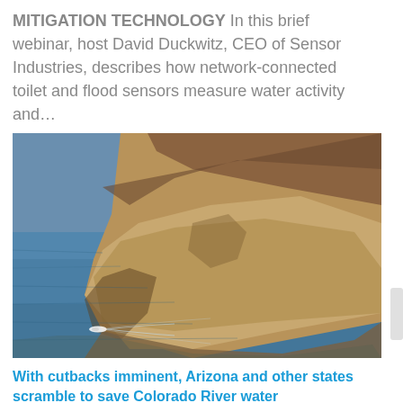MITIGATION TECHNOLOGY  In this brief webinar, host David Duckwitz, CEO of Sensor Industries, describes how network-connected toilet and flood sensors measure water activity and…
[Figure (photo): Aerial or elevated view of a rocky cliff/promontory meeting calm blue water, with a small boat and its wake visible in the lower left of the water.]
With cutbacks imminent, Arizona and other states scramble to save Colorado River water